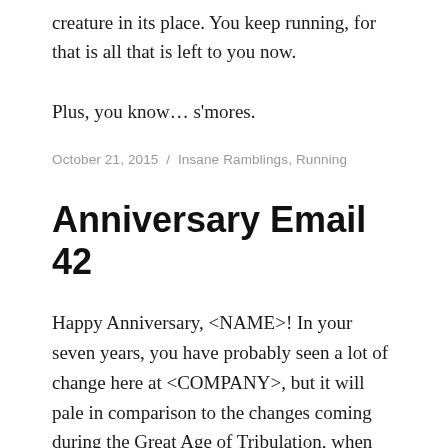creature in its place. You keep running, for that is all that is left to you now.
Plus, you know… s'mores.
October 21, 2015 / Insane Ramblings, Running
Anniversary Email 42
Happy Anniversary, <NAME>! In your seven years, you have probably seen a lot of change here at <COMPANY>, but it will pale in comparison to the changes coming during the Great Age of Tribulation, when the empire of the Yaaguli spill forth from the earth and